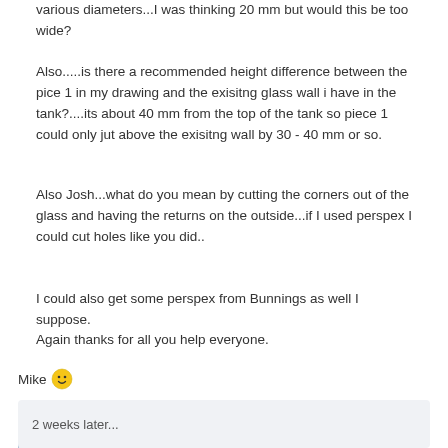various diameters...I was thinking 20 mm but would this be too wide?
Also.....is there a recommended height difference between the pice 1 in my drawing and the exisitng glass wall i have in the tank?....its about 40 mm from the top of the tank so piece 1 could only jut above the exisitng wall by 30 - 40 mm or so.
Also Josh...what do you mean by cutting the corners out of the glass and having the returns on the outside...if I used perspex I could cut holes like you did..
I could also get some perspex from Bunnings as well I suppose.
Again thanks for all you help everyone.
Mike 🙂
Quote
2 weeks later...